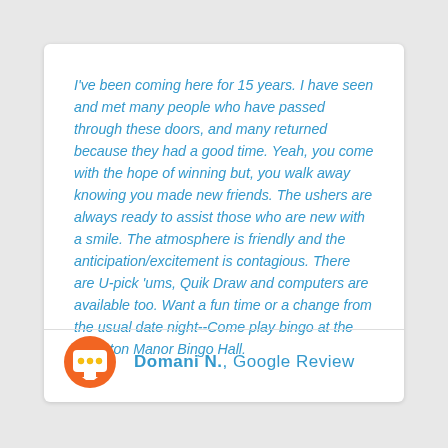I've been coming here for 15 years. I have seen and met many people who have passed through these doors, and many returned because they had a good time. Yeah, you come with the hope of winning but, you walk away knowing you made new friends. The ushers are always ready to assist those who are new with a smile. The atmosphere is friendly and the anticipation/excitement is contagious. There are U-pick 'ums, Quik Draw and computers are available too. Want a fun time or a change from the usual date night--Come play bingo at the Fullerton Manor Bingo Hall.
Domani N., Google Review